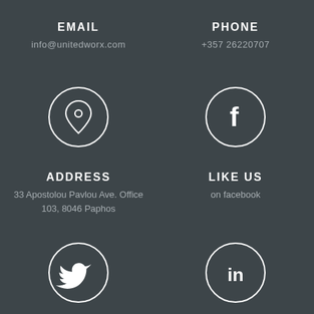EMAIL
info@unitedworx.com
PHONE
+357 26220707
[Figure (illustration): Location pin icon in a circle]
[Figure (illustration): Facebook logo icon in a circle]
ADDRESS
33 Apostolou Pavlou Ave. Office 103, 8046 Paphos
LIKE US
on facebook
[Figure (illustration): Twitter bird icon in a circle]
[Figure (illustration): LinkedIn icon in a circle]